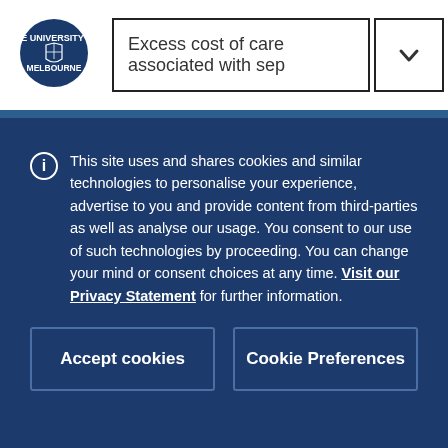[Figure (logo): University of Melbourne crest/shield logo, white on blue circle background]
Excess cost of care associated with sep
MDHS Facebook
MDHS Twitter
This site uses and shares cookies and similar technologies to personalise your experience, advertise to you and provide content from third-parties as well as analyse our usage. You consent to our use of such technologies by proceeding. You can change your mind or consent choices at any time. Visit our Privacy Statement for further information.
Accept cookies
Cookie Preferences